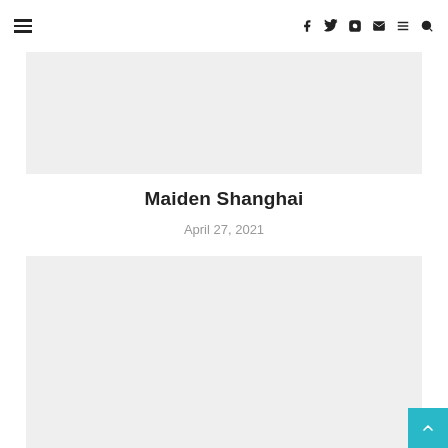Navigation bar with hamburger menu and social icons: facebook, twitter, instagram, mail, menu, search
[Figure (other): Gray placeholder image block at top of article]
Maiden Shanghai
April 27, 2021
[Figure (other): Gray placeholder image block below article header]
Back to top button (teal/cyan color with upward chevron)